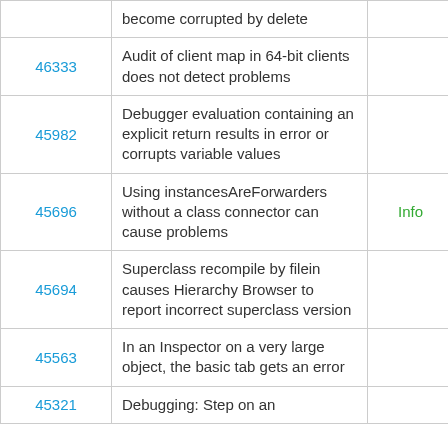| ID | Description | Type | Date |
| --- | --- | --- | --- |
|  | become corrupted by delete |  |  |
| 46333 | Audit of client map in 64-bit clients does not detect problems |  | 7/28/16 |
| 45982 | Debugger evaluation containing an explicit return results in error or corrupts variable values |  | 11/2/16 |
| 45696 | Using instancesAreForwarders without a class connector can cause problems | Info | 11/17/1 |
| 45694 | Superclass recompile by filein causes Hierarchy Browser to report incorrect superclass version |  | 7/13/16 |
| 45563 | In an Inspector on a very large object, the basic tab gets an error |  | 7/13/16 |
| 45321 | Debugging: Step on an... |  | 11/17/1 |